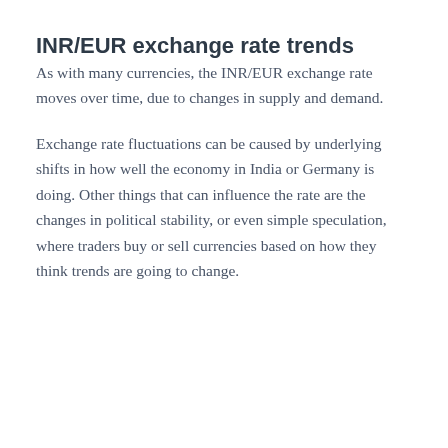INR/EUR exchange rate trends
As with many currencies, the INR/EUR exchange rate moves over time, due to changes in supply and demand.
Exchange rate fluctuations can be caused by underlying shifts in how well the economy in India or Germany is doing. Other things that can influence the rate are the changes in political stability, or even simple speculation, where traders buy or sell currencies based on how they think trends are going to change.